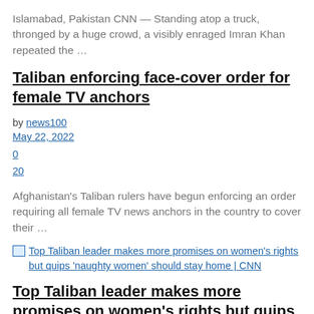Islamabad, Pakistan CNN — Standing atop a truck, thronged by a huge crowd, a visibly enraged Imran Khan repeated the …
Taliban enforcing face-cover order for female TV anchors
by news100
May 22, 2022
0
20
Afghanistan's Taliban rulers have begun enforcing an order requiring all female TV news anchors in the country to cover their …
Top Taliban leader makes more promises on women's rights but quips 'naughty women' should stay home | CNN
Top Taliban leader makes more promises on women's rights but quips 'naughty women' should stay home | CNN